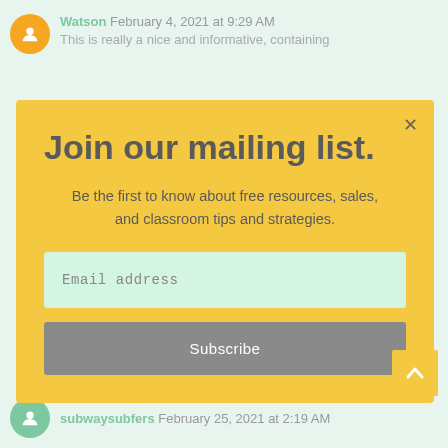Watson February 4, 2021 at 9:29 AM
This is really a nice and informative, containing
[Figure (screenshot): Mailing list subscription modal popup with yellow background, email input field, and subscribe button]
subwaysubfers February 25, 2021 at 2:19 AM